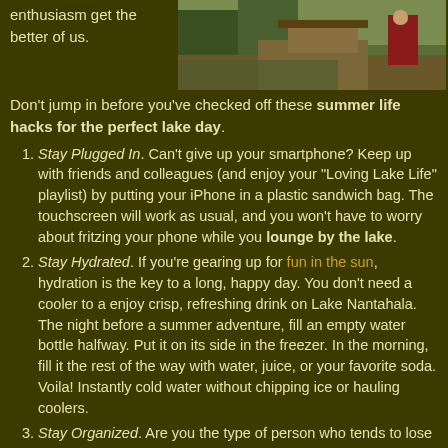[Figure (photo): Outdoor photo showing a lakeside/nature scene with people and a dock or path, taken in summer.]
enthusiasm get the better of us. Don't jump in before you've checked off these summer life hacks for the perfect lake day.
Stay Plugged In. Can't give up your smartphone? Keep up with friends and colleagues (and enjoy your "Loving Lake Life" playlist) by putting your iPhone in a plastic sandwich bag. The touchscreen will work as usual, and you won't have to worry about fritzing your phone while you lounge by the lake.
Stay Hydrated. If you're gearing up for fun in the sun, hydration is the key to a long, happy day. You don't need a cooler to a enjoy crisp, refreshing drink on Lake Nantahala. The night before a summer adventure, fill an empty water bottle halfway. Put it on its side in the freezer. In the morning, fill it the rest of the way with water, juice, or your favorite soda. Voila! Instantly cold water without chipping ice or hauling coolers.
Stay Organized. Are you the type of person who tends to lose things? It's easy for phone calls to get...